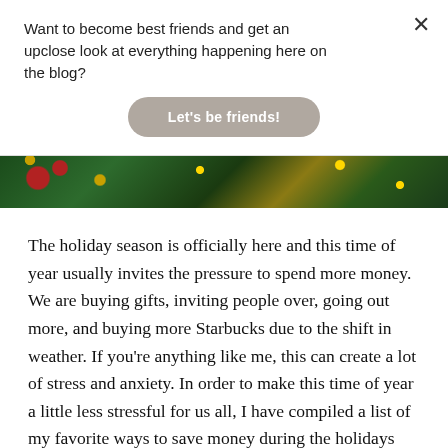Want to become best friends and get an upclose look at everything happening here on the blog?
Let's be friends!
[Figure (photo): Close-up photo of Christmas tree decorations with green pine needles, red ornaments, and gold tinsel]
The holiday season is officially here and this time of year usually invites the pressure to spend more money. We are buying gifts, inviting people over, going out more, and buying more Starbucks due to the shift in weather. If you're anything like me, this can create a lot of stress and anxiety. In order to make this time of year a little less stressful for us all, I have compiled a list of my favorite ways to save money during the holidays with little to no effort at all! My first tip of advice would be to set a budget but that does require effort and I promised my advice in this post would be giving you a little effort...